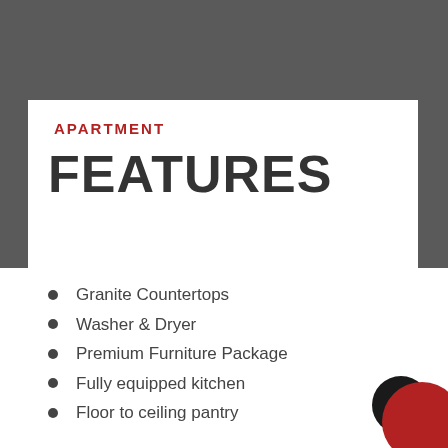APARTMENT
FEATURES
Granite Countertops
Washer & Dryer
Premium Furniture Package
Fully equipped kitchen
Floor to ceiling pantry